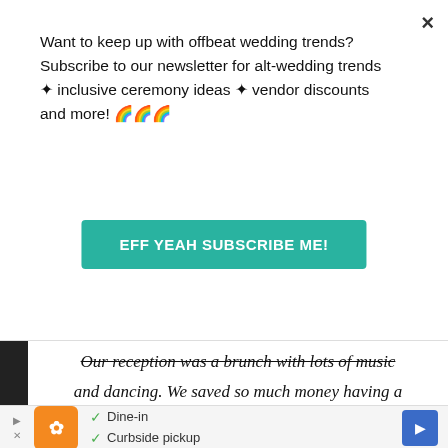Want to keep up with offbeat wedding trends?Subscribe to our newsletter for alt-wedding trends ✦ inclusive ceremony ideas ✦ vendor discounts and more! 🌈🌈🌈
EFF YEAH SUBSCRIBE ME!
Our reception was a brunch with lots of music and dancing. We saved so much money having a brunch wedding.
[Figure (screenshot): Ad banner with restaurant logo, dine-in and curbside pickup checkmarks, and navigation arrow]